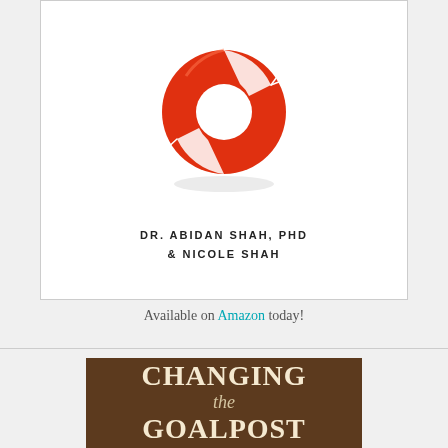[Figure (illustration): Book cover showing a red and white life preserver ring (life buoy) on a white background, with author names 'DR. ABIDAN SHAH, PHD & NICOLE SHAH' below it]
Available on Amazon today!
[Figure (illustration): Bottom portion of a book cover with dark brown background showing the text 'CHANGING the GOALPOST' in large serif font]